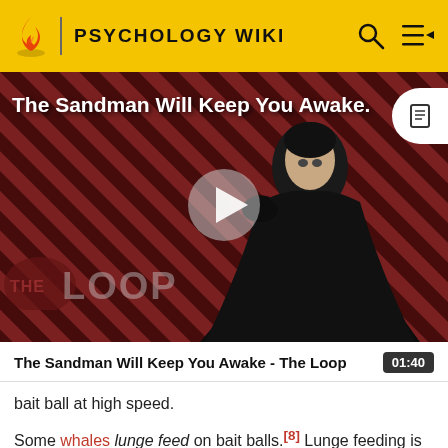PSYCHOLOGY WIKI
[Figure (screenshot): Video thumbnail showing a dark figure in a cape against a striped red and black background with 'THE LOOP' text overlay and a play button in the center. Title overlay reads 'The Sandman Will Keep You Awake.']
The Sandman Will Keep You Awake - The Loop 01:40
bait ball at high speed.
Some whales lunge feed on bait balls.[8] Lunge feeding is an extreme feeding method, in which the whale